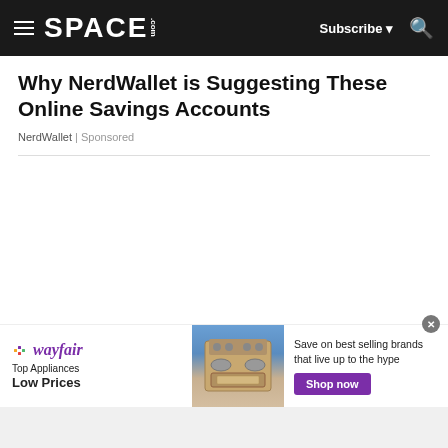SPACE.com — Subscribe — Search
Why NerdWallet is Suggesting These Online Savings Accounts
NerdWallet | Sponsored
[Figure (screenshot): Wayfair advertisement banner showing logo, 'Top Appliances Low Prices' tagline, appliance image, 'Save on best selling brands that live up to the hype' text, and a purple 'Shop now' button]